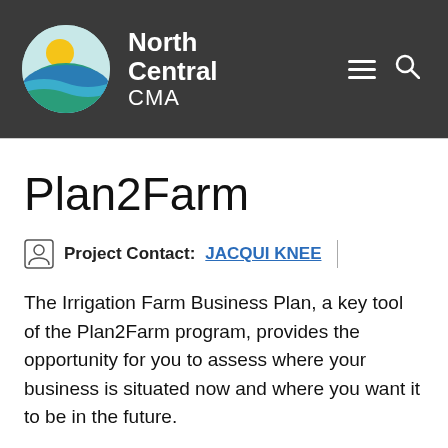[Figure (logo): North Central CMA logo with circular graphic showing sun and water waves in blue and teal, alongside text 'North Central CMA' on dark background header with hamburger menu and search icons]
Plan2Farm
Project Contact: JACQUI KNEE
The Irrigation Farm Business Plan, a key tool of the Plan2Farm program, provides the opportunity for you to assess where your business is situated now and where you want it to be in the future.